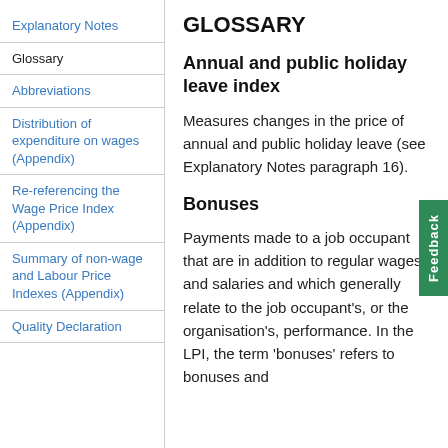Explanatory Notes
Glossary
Abbreviations
Distribution of expenditure on wages (Appendix)
Re-referencing the Wage Price Index (Appendix)
Summary of non-wage and Labour Price Indexes (Appendix)
Quality Declaration
GLOSSARY
Annual and public holiday leave index
Measures changes in the price of annual and public holiday leave (see Explanatory Notes paragraph 16).
Bonuses
Payments made to a job occupant that are in addition to regular wages and salaries and which generally relate to the job occupant's, or the organisation's, performance. In the LPI, the term 'bonuses' refers to bonuses and